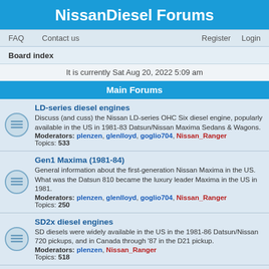NissanDiesel Forums
FAQ   Contact us   Register   Login
Board index
It is currently Sat Aug 20, 2022 5:09 am
Main Forums
LD-series diesel engines
Discuss (and cuss) the Nissan LD-series OHC Six diesel engine, popularly available in the US in 1981-83 Datsun/Nissan Maxima Sedans & Wagons.
Moderators: plenzen, glenlloyd, goglio704, Nissan_Ranger
Topics: 533
Gen1 Maxima (1981-84)
General information about the first-generation Nissan Maxima in the US. What was the Datsun 810 became the luxury leader Maxima in the US in 1981.
Moderators: plenzen, glenlloyd, goglio704, Nissan_Ranger
Topics: 250
SD2x diesel engines
SD diesels were widely available in the US in the 1981-86 Datsun/Nissan 720 pickups, and in Canada through '87 in the D21 pickup.
Moderators: plenzen, Nissan_Ranger
Topics: 518
SD-powered 720 PU support systems
Dealing with all subsystems specific to the diesel powered Datsun-Nissan 720 pickup trucks.
Moderators: plenzen, Nissan_Ranger